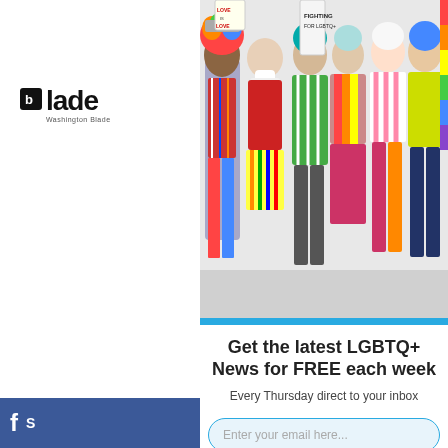[Figure (photo): Group of diverse LGBTQ+ people holding signs and flags including rainbow flags. Text on signs reads 'LOVE IS LOVE' and 'FIGHTING FOR LGBТQ+']
[Figure (logo): Washington Blade newspaper logo text]
Get the latest LGBTQ+ News for FREE each week
Every Thursday direct to your inbox
Enter your email here...
Yes! I want FREE LGBTQ News
S (Facebook share bar)